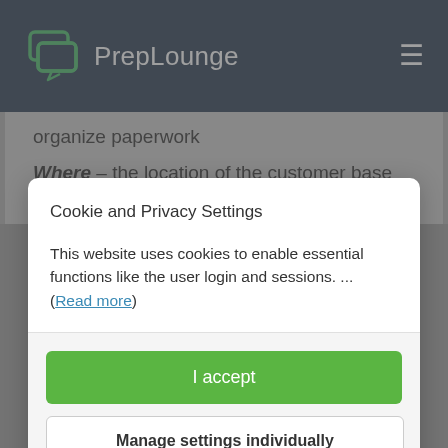PrepLounge
organize paperwork
Where – the location of the customer base e.g UK, Europe, global
Cookie and Privacy Settings
This website uses cookies to enable essential functions like the user login and sessions. ... (Read more)
I accept
Manage settings individually